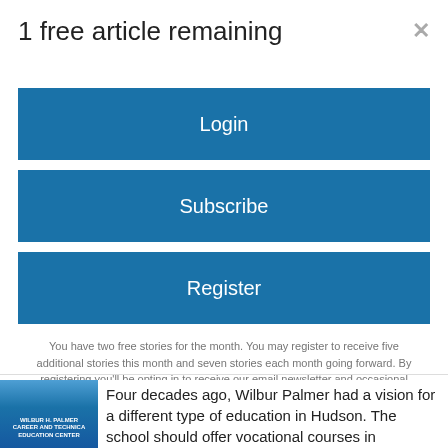1 free article remaining
Login
Subscribe
Register
You have two free stories for the month. You may register to receive five additional stories this month and seven stories each month going forward. By registering you'll be opting in to receive our email newsletter and occasional promotions. You may opt out at any time.
Four decades ago, Wilbur Palmer had a vision for a different type of education in Hudson. The school should offer vocational courses in
[Figure (photo): Photo of Wilbur H. Palmer Career and Technical Education Center sign]